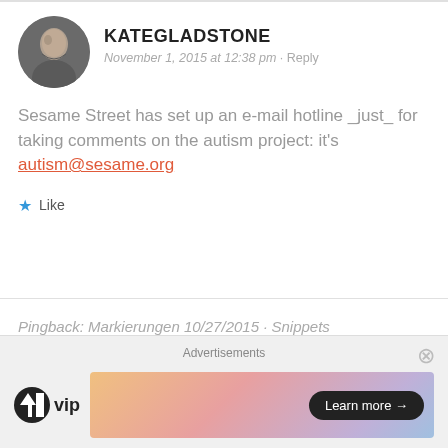KATEGLADSTONE
November 1, 2015 at 12:38 pm · Reply
Sesame Street has set up an e-mail hotline _just_ for taking comments on the autism project: it's autism@sesame.org
Like
Pingback: Markierungen 10/27/2015 - Snippets
Advertisements
[Figure (logo): WordPress VIP logo with text 'WP vip']
[Figure (illustration): Learn more advertisement banner with gradient background]